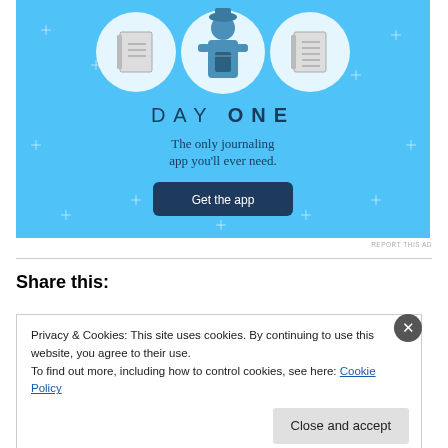[Figure (illustration): Day One journaling app advertisement on a light blue background. Shows circular icons of notebooks and a person using a phone/tablet. Text reads 'DAY ONE - The only journaling app you'll ever need.' with a dark blue 'Get the app' button.]
REPORT THIS AD
Share this:
Privacy & Cookies: This site uses cookies. By continuing to use this website, you agree to their use.
To find out more, including how to control cookies, see here: Cookie Policy
Close and accept